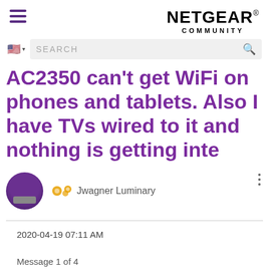NETGEAR COMMUNITY
AC2350 can't get WiFi on phones and tablets. Also I have TVs wired to it and nothing is getting inte
Jwagner Luminary
2020-04-19 07:11 AM
Message 1 of 4